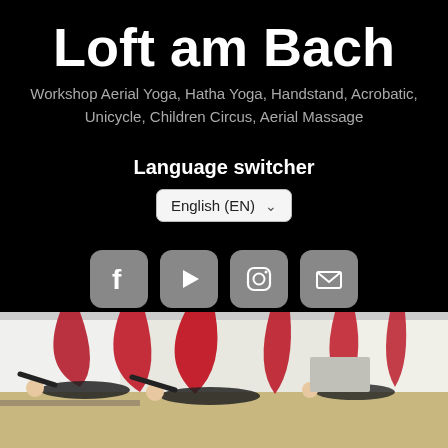Loft am Bach
Workshop Aerial Yoga, Hatha Yoga, Handstand, Acrobatic, Unicycle, Children Circus, Aerial Massage
Language switcher
[Figure (screenshot): Language selector dropdown showing 'English (EN)' with a chevron/dropdown arrow]
[Figure (infographic): Four social media icon buttons: Facebook (f), YouTube (play triangle), Instagram (camera), and email (envelope), each in a rounded gray square]
[Figure (photo): Aerial yoga class photo showing multiple people suspended horizontally in red fabric hammocks in a bright studio with white walls and wood floor]